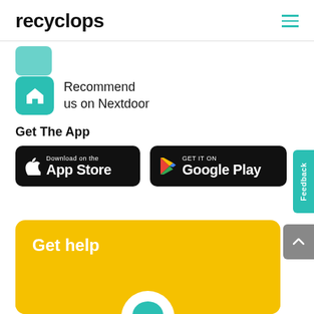recyclops
[Figure (logo): Nextdoor icon (teal house icon, partially visible at top)]
[Figure (logo): Nextdoor teal icon with white house symbol, Recommend us on Nextdoor]
Recommend us on Nextdoor
Get The App
[Figure (other): Download on the App Store button (black rounded rectangle with Apple logo)]
[Figure (other): GET IT ON Google Play button (black rounded rectangle with Google Play triangle logo)]
Get help
Visit our help center
Submit a ticket